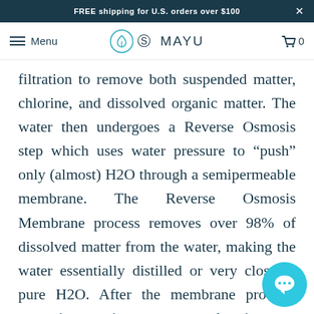FREE shipping for U.S. orders over $100
Menu  MAYU  0
filtration to remove both suspended matter, chlorine, and dissolved organic matter. The water then undergoes a Reverse Osmosis step which uses water pressure to “push” only (almost) H2O through a semipermeable membrane. The Reverse Osmosis Membrane process removes over 98% of dissolved matter from the water, making the water essentially distilled or very close to pure H2O. After the membrane process, water is sometimes post-treated to improve taste and add minerals, is stored in a